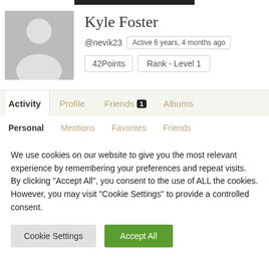[Figure (photo): Default user avatar placeholder — gray square with white silhouette of head and shoulders]
Kyle Foster
@nevik23  Active 6 years, 4 months ago
42Points  Rank - Level 1
Activity  Profile  Friends 1  Albums
Personal  Mentions  Favorites  Friends
We use cookies on our website to give you the most relevant experience by remembering your preferences and repeat visits. By clicking "Accept All", you consent to the use of ALL the cookies. However, you may visit "Cookie Settings" to provide a controlled consent.
Cookie Settings  Accept All